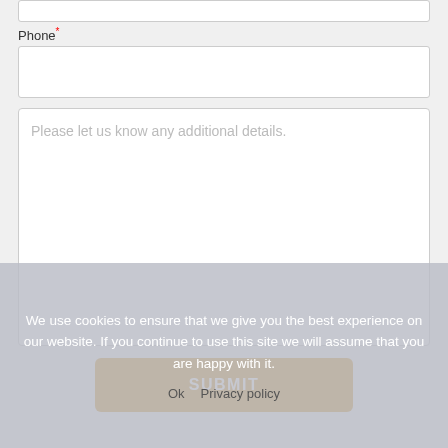Phone*
Please let us know any additional details.
SUBMIT
We use cookies to ensure that we give you the best experience on our website. If you continue to use this site we will assume that you are happy with it.
Ok   Privacy policy